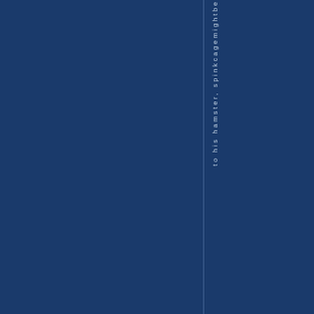to his hamster, spinkcagemightbe